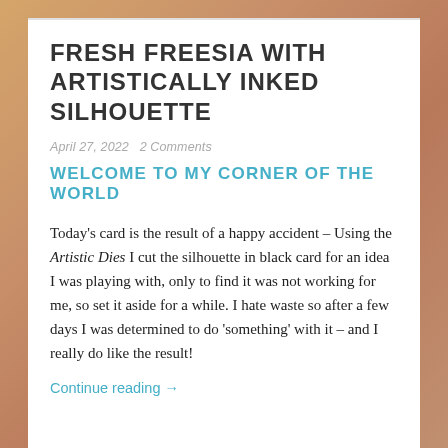FRESH FREESIA WITH ARTISTICALLY INKED SILHOUETTE
April 27, 2022   2 Comments
WELCOME TO MY CORNER OF THE WORLD
Today's card is the result of a happy accident – Using the Artistic Dies I cut the silhouette in black card for an idea I was playing with, only to find it was not working for me, so set it aside for a while. I hate waste so after a few days I was determined to do 'something' with it – and I really do like the result!
Continue reading →